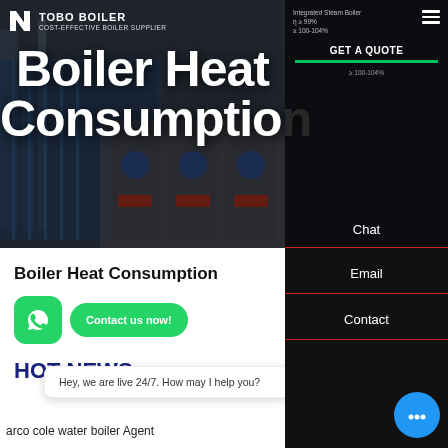[Figure (screenshot): Hero banner with dark overlay showing industrial boilers. TOBO BOILER logo and navigation at top. Large white bold text reads 'Boiler Heat Consumption'. Right sidebar shows dark navigation panel with GET A QUOTE button and green underline.]
Boiler Heat Consumption
[Figure (screenshot): WhatsApp icon (green rounded square) and green 'Contact us now!' button]
HOT NEWS
Hey, we are live 24/7. How may I help you?
arco cole water boiler Agent